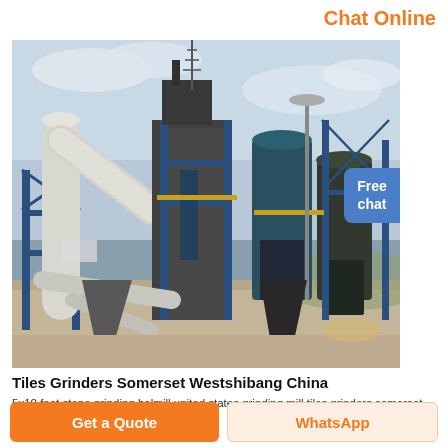Chat Online
[Figure (photo): Industrial grinding mill facility with large metal pipes, blue steel structures, silos, and processing equipment against a cloudy sky. Appears to be a stone or tile grinding plant.]
Tiles Grinders Somerset Westshibang China
5x10 feet stone grinding balmill united states grinding mill tiles grinders somerset west